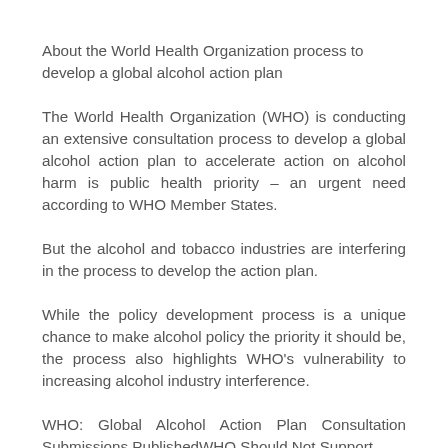About the World Health Organization process to develop a global alcohol action plan
The World Health Organization (WHO) is conducting an extensive consultation process to develop a global alcohol action plan to accelerate action on alcohol harm is public health priority – an urgent need according to WHO Member States.
But the alcohol and tobacco industries are interfering in the process to develop the action plan.
While the policy development process is a unique chance to make alcohol policy the priority it should be, the process also highlights WHO's vulnerability to increasing alcohol industry interference.
WHO: Global Alcohol Action Plan Consultation Submissions PublishedWHO Should Not Support